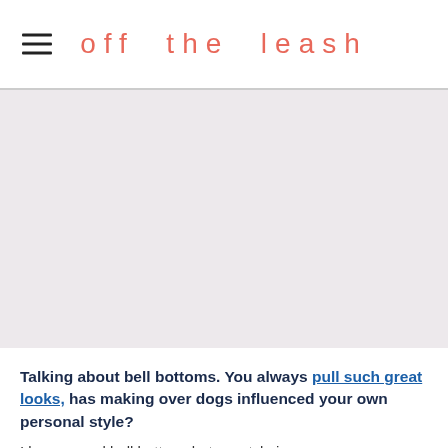off the leash
[Figure (photo): Large image placeholder area with light pinkish-grey background, no visible image content]
Talking about bell bottoms. You always pull such great looks, has making over dogs influenced your own personal style?
I love a good bell bottom, but my style is more